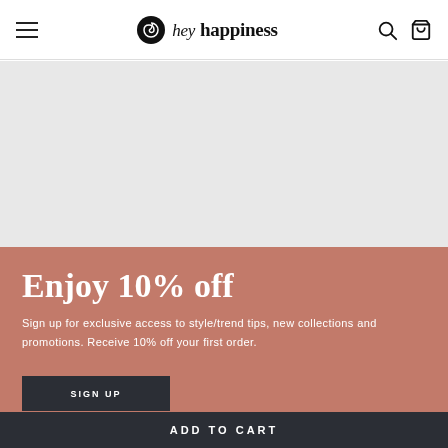[Figure (logo): hey happiness brand logo with spiral shell icon, italic 'hey' and bold 'happiness' in serif font]
[Figure (illustration): Light gray placeholder content area below header]
Enjoy 10% off
Sign up for exclusive access to style/trend tips, new collections and promotions. Receive 10% off your first order.
SIGN UP
ADD TO CART